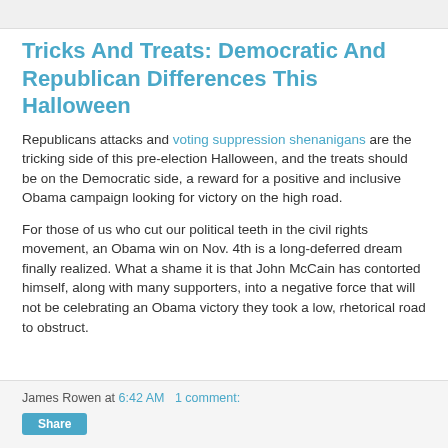Tricks And Treats: Democratic And Republican Differences This Halloween
Republicans attacks and voting suppression shenanigans are the tricking side of this pre-election Halloween, and the treats should be on the Democratic side, a reward for a positive and inclusive Obama campaign looking for victory on the high road.
For those of us who cut our political teeth in the civil rights movement, an Obama win on Nov. 4th is a long-deferred dream finally realized. What a shame it is that John McCain has contorted himself, along with many supporters, into a negative force that will not be celebrating an Obama victory they took a low, rhetorical road to obstruct.
James Rowen at 6:42 AM   1 comment: